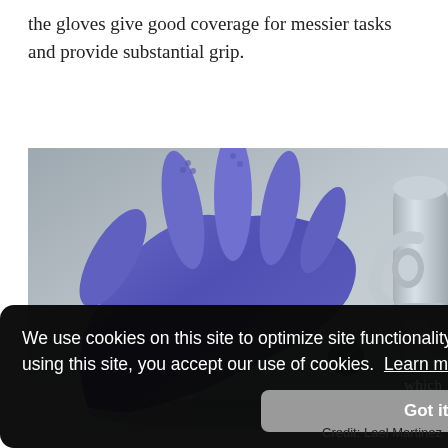the gloves give good coverage for messier tasks and provide substantial grip.
[Figure (photo): A hand wearing a blue/purple rubber cleaning glove held up near a chrome sink faucet, with a white cotton cuff visible at the wrist. Cookie consent banner overlaid on the lower portion of the image.]
We use cookies on this site to optimize site functionality and give you the best possible experience. By using this site, you accept our use of cookies. Learn more
Got it!
which
Credit: Lael Martinez